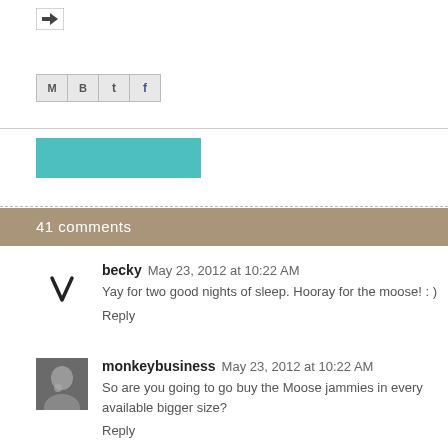[Figure (icon): Forward/email icon button]
[Figure (icon): Social share buttons: M, B, t, f]
[Figure (other): Teal colored rectangular bar/button]
41 comments
[Figure (illustration): Heart/V-shape avatar icon for user becky]
becky  May 23, 2012 at 10:22 AM
Yay for two good nights of sleep. Hooray for the moose! : )
Reply
[Figure (photo): Small profile photo of monkeybusiness user]
monkeybusiness  May 23, 2012 at 10:22 AM
So are you going to go buy the Moose jammies in every available bigger size?
Reply